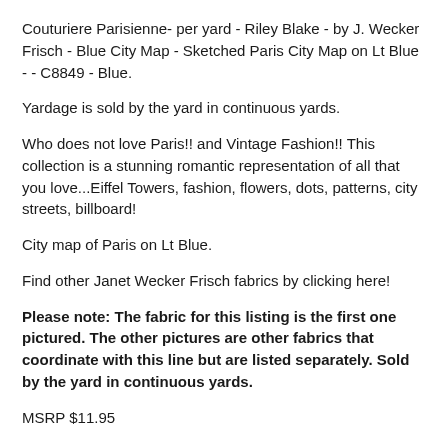Couturiere Parisienne- per yard - Riley Blake - by J. Wecker Frisch - Blue City Map - Sketched Paris City Map on Lt Blue - - C8849 - Blue.
Yardage is sold by the yard in continuous yards.
Who does not love Paris!! and Vintage Fashion!! This collection is a stunning romantic representation of all that you love...Eiffel Towers, fashion, flowers, dots, patterns, city streets, billboard!
City map of Paris on Lt Blue.
Find other Janet Wecker Frisch fabrics by clicking here!
Please note: The fabric for this listing is the first one pictured. The other pictures are other fabrics that coordinate with this line but are listed separately. Sold by the yard in continuous yards.
MSRP $11.95